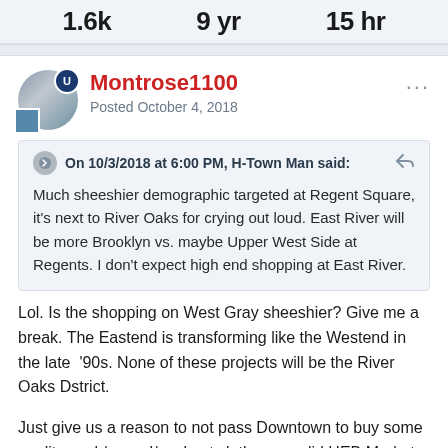1.6k   9 yr   15 hr
Montrose1100
Posted October 4, 2018
On 10/3/2018 at 6:00 PM, H-Town Man said:
Much sheeshier demographic targeted at Regent Square, it's next to River Oaks for crying out loud. East River will be more Brooklyn vs. maybe Upper West Side at Regents. I don't expect high end shopping at East River.
Lol. Is the shopping on West Gray sheeshier? Give me a break. The Eastend is transforming like the Westend in the late '90s. None of these projects will be the River Oaks Dstrict.
Just give us a reason to not pass Downtown to buy some quality work/casual/workout clothes, a solid HEB Market, add some more